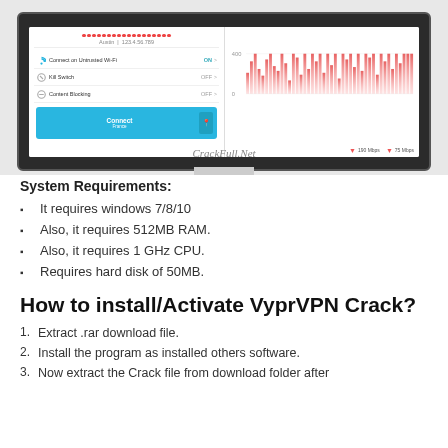[Figure (screenshot): Screenshot of VyprVPN app interface on a monitor showing Connect on Untrusted Wi-Fi ON, Kill Switch OFF, Content Blocking OFF, Connect button for France, and a speed/bandwidth chart with 190 Mbps and 75 Mbps legend.]
CrackFull.Net
System Requirements:
It requires windows 7/8/10
Also, it requires 512MB RAM.
Also, it requires 1 GHz CPU.
Requires hard disk of 50MB.
How to install/Activate VyprVPN Crack?
Extract .rar download file.
Install the program as installed others software.
Now extract the Crack file from download folder after